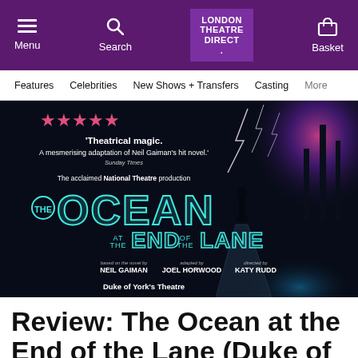Menu | Search | LONDON THEATRE DIRECT. | Basket
Features | Celebrities | New Shows + Transfers | Casting | More
[Figure (photo): Promotional poster for 'The Ocean at the End of the Lane' at Duke of York's Theatre. Dark background with neon teal lettering. Five pink star rating. Quote: 'Theatrical magic. A mesmerising adaptation of Neil Gaiman's hit novel.' Sunday Times. The acclaimed National Theatre production. Based on the novel by Neil Gaiman, adapted by Joel Horwood, directed by Katy Rudd. Duke of York's Theatre.]
Review: The Ocean at the End of the Lane (Duke of